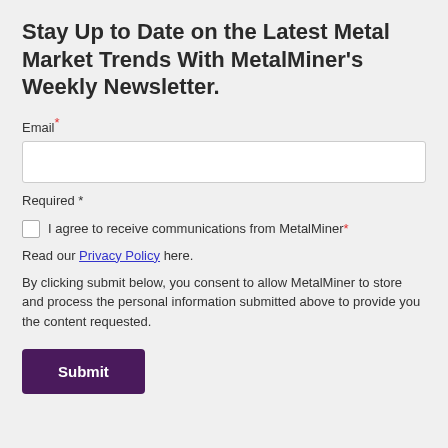Stay Up to Date on the Latest Metal Market Trends With MetalMiner's Weekly Newsletter.
Email*
Required *
I agree to receive communications from MetalMiner*
Read our Privacy Policy here.
By clicking submit below, you consent to allow MetalMiner to store and process the personal information submitted above to provide you the content requested.
Submit